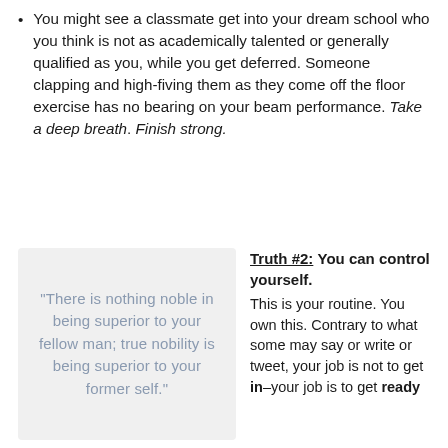You might see a classmate get into your dream school who you think is not as academically talented or generally qualified as you, while you get deferred. Someone clapping and high-fiving them as they come off the floor exercise has no bearing on your beam performance. Take a deep breath. Finish strong.
[Figure (illustration): Light grey box containing a quote in a decorative handwriting-style font: “There is nothing noble in being superior to your fellow man; true nobility is being superior to your former self.”]
Truth #2: You can control yourself. This is your routine. You own this. Contrary to what some may say or write or tweet, your job is not to get in–your job is to get ready